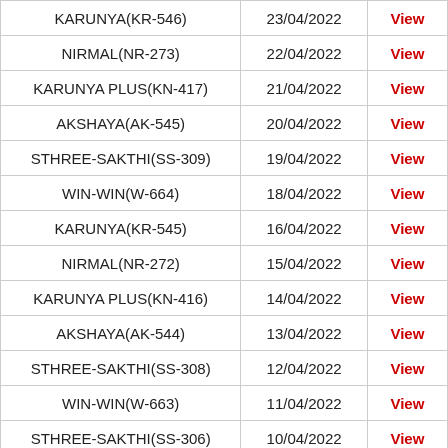| KARUNYA(KR-546) | 23/04/2022 | View |
| NIRMAL(NR-273) | 22/04/2022 | View |
| KARUNYA PLUS(KN-417) | 21/04/2022 | View |
| AKSHAYA(AK-545) | 20/04/2022 | View |
| STHREE-SAKTHI(SS-309) | 19/04/2022 | View |
| WIN-WIN(W-664) | 18/04/2022 | View |
| KARUNYA(KR-545) | 16/04/2022 | View |
| NIRMAL(NR-272) | 15/04/2022 | View |
| KARUNYA PLUS(KN-416) | 14/04/2022 | View |
| AKSHAYA(AK-544) | 13/04/2022 | View |
| STHREE-SAKTHI(SS-308) | 12/04/2022 | View |
| WIN-WIN(W-663) | 11/04/2022 | View |
| STHREE-SAKTHI(SS-306) | 10/04/2022 | View |
| KARUNYA(KR-544) | 09/04/2022 | View |